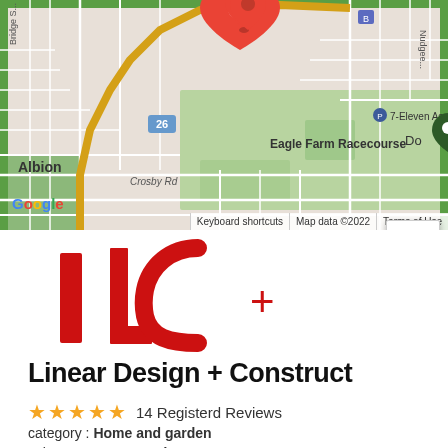[Figure (map): Google Maps screenshot showing Eagle Farm Racecourse area in Brisbane, Australia. Shows roads including Crosby Rd, Bridge St, Nudgee Rd. Landmarks: 7-Eleven Ascot, Eagle Farm Racecourse, Albion suburb. A red location pin marker is visible near the top center. Zoom controls (+/-) visible on right. Google logo at bottom left. Map data ©2022 attribution and Terms of Use at bottom right.]
[Figure (logo): Linear Design + Construct logo: red stylized LC monogram with angular lines, paired with a red plus sign to the right.]
Linear Design + Construct
★★★★★  14 Registerd Reviews
category : Home and garden
subcategory : Home decor